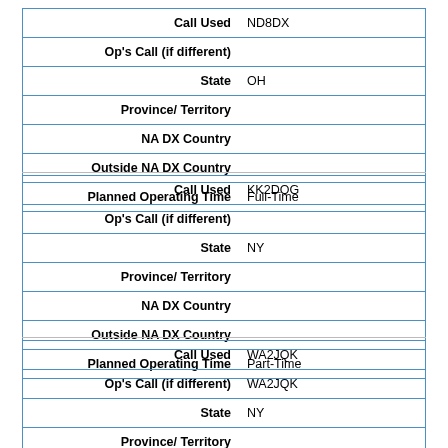| Call Used | ND8DX |
| Op's Call (if different) |  |
| State | OH |
| Province/ Territory |  |
| NA DX Country |  |
| Outside NA DX Country |  |
| Planned Operating Time | Full-Time |
| Call Used | KK2DOG |
| Op's Call (if different) |  |
| State | NY |
| Province/ Territory |  |
| NA DX Country |  |
| Outside NA DX Country |  |
| Planned Operating Time | Part-Time |
| Call Used | WA2JQK |
| Op's Call (if different) | WA2JQK |
| State | NY |
| Province/ Territory |  |